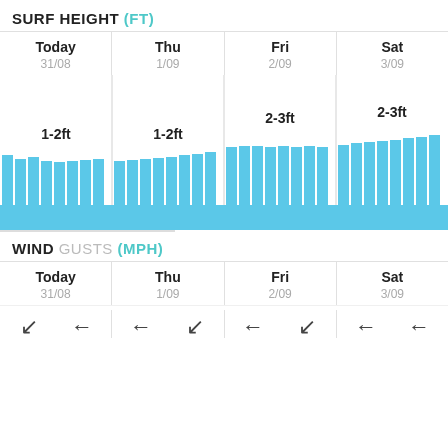SURF HEIGHT (FT)
[Figure (bar-chart): Surf Height (ft)]
WIND GUSTS (MPH)
[Figure (infographic): Wind direction arrows for Today 31/08, Thu 1/09, Fri 2/09, Sat 3/09]
| Today 31/08 | Thu 1/09 | Fri 2/09 | Sat 3/09 |
| --- | --- | --- | --- |
| 1-2ft | 1-2ft | 2-3ft | 2-3ft |